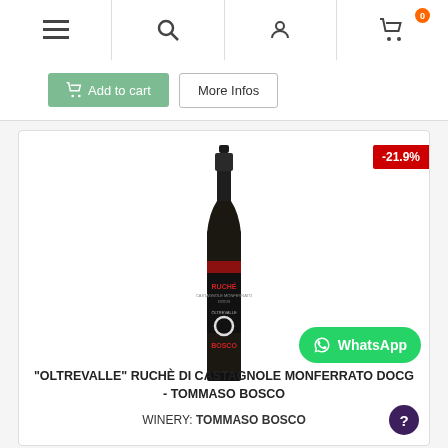Navigation bar with menu, search, user, and cart (0 items) icons
Add to cart | More Infos
[Figure (photo): Dark red wine bottle labeled RUCHE DI CASTAGNOLE MONFERRATO DOCG, OLTREVALLE, BOSCO on a white background, with a -21.9% discount badge]
"OLTREVALLE" RUCHÈ DI CASTAGNOLE MONFERRATO DOCG - TOMMASO BOSCO
WINERY: TOMMASO BOSCO